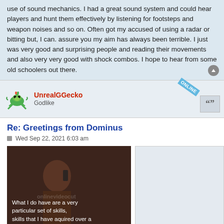use of sound mechanics. I had a great sound system and could hear players and hunt them effectively by listening for footsteps and weapon noises and so on. Often got my accused of using a radar or bitting but, I can. assure you my aim has always been terrible. I just was very good and surprising people and reading their movements and also very very good with shock combos. I hope to hear from some old schoolers out there.
UnrealGGecko
Godlike
Re: Greetings from Dominus
Wed Sep 22, 2021 6:03 am
[Figure (photo): Movie still (Liam Neeson on phone) with subtitle text: 'What I do have are a very particular set of skills, skills that I have aquired over a very long career ..']
[Figure (other): Light grey placeholder rectangle]
Welcome aboard!